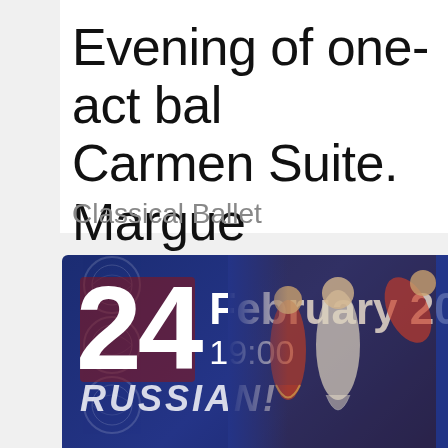Evening of one-act bal... Carmen Suite. Margue... Armand.
Classical Ballet
[Figure (photo): Promotional event card showing date 24 February 2022 at 19:00 with ballet performers in Russian costume on a dark blue ornamental background with text RUSSIAN!]